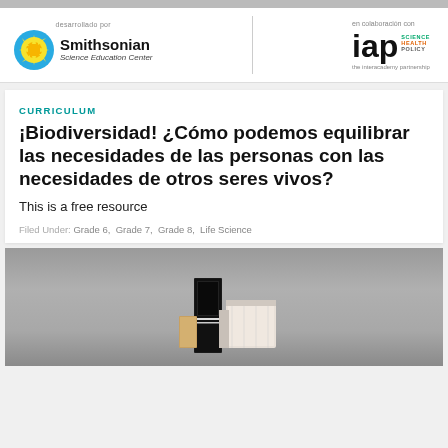[Figure (logo): Smithsonian Science Education Center logo with sun icon, and IAP Science Health Policy (the interacademy partnership) logo, with labels 'desarrollado por' and 'en colaboración con']
CURRICULUM
¡Biodiversidad! ¿Cómo podemos equilibrar las necesidades de las personas con las necesidades de otros seres vivos?
This is a free resource
Filed Under:  Grade 6,  Grade 7,  Grade 8,  Life Science
[Figure (photo): Photo of curriculum materials/books on a gray background]